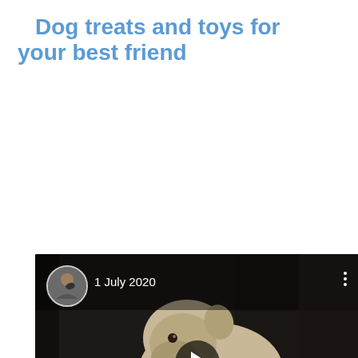Dog treats and toys for your best friend
[Figure (screenshot): Video thumbnail showing a dog chewing on a treat/stick in a dark room, with a circular avatar profile photo in the top-left, date '1 July 2020' text, three vertical dots menu icon, and a play button in the center.]